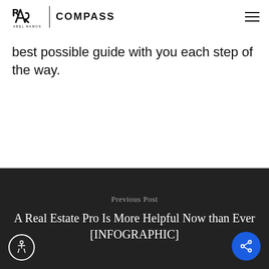Abel Ramos | COMPASS
best possible guide with you each step of the way.
Previous Post
A Real Estate Pro Is More Helpful Now than Ever [INFOGRAPHIC]